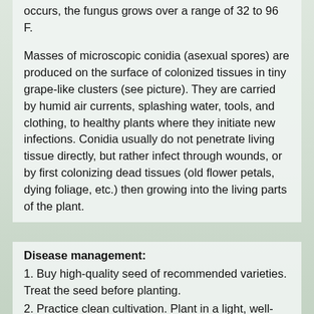occurs, the fungus grows over a range of 32 to 96 F.
Masses of microscopic conidia (asexual spores) are produced on the surface of colonized tissues in tiny grape-like clusters (see picture). They are carried by humid air currents, splashing water, tools, and clothing, to healthy plants where they initiate new infections. Conidia usually do not penetrate living tissue directly, but rather infect through wounds, or by first colonizing dead tissues (old flower petals, dying foliage, etc.) then growing into the living parts of the plant.
Disease management:
1. Buy high-quality seed of recommended varieties. Treat the seed before planting.
2. Practice clean cultivation. Plant in a light, well-drained, well-prepared, fertile seedbed at the time recommended for your area. If feasible, sterilize the seedbed soil before